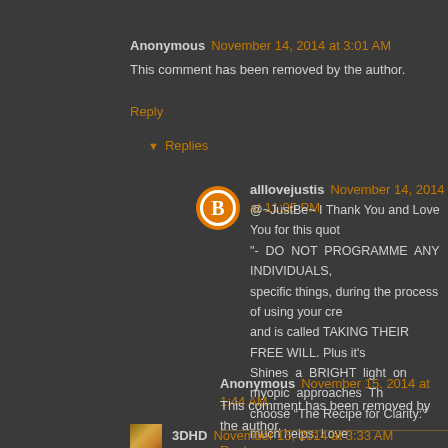Anonymous  November 14, 2014 at 3:01 AM
This comment has been removed by the author.
Reply
Replies
alllovejustis  November 14, 2014 at 11:05 PM
@~JustBe~ I Thank You and Love You for this quot "- DO NOT PROGRAMME ANY INDIVIDUALS, specific things, during the process of using your cre and is called TAKING THEIR FREE WILL. Plus it's Shines a BRIGHT light on myopic approaches Th choose “The Recipe for Clarity:” much helps. Love
Anonymous  November 15, 2014 at 1:44 AM
This comment has been removed by the author.
Reply
3DHD  November 15, 2014 at 3:33 AM